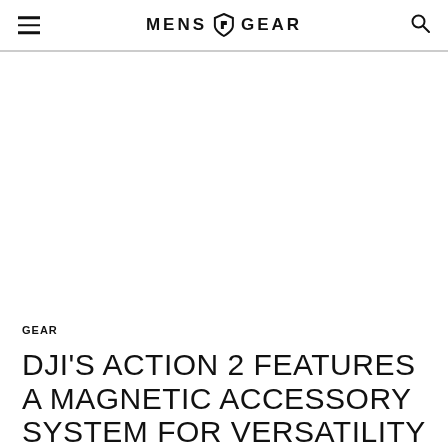MENS GEAR
GEAR
DJI'S ACTION 2 FEATURES A MAGNETIC ACCESSORY SYSTEM FOR VERSATILITY